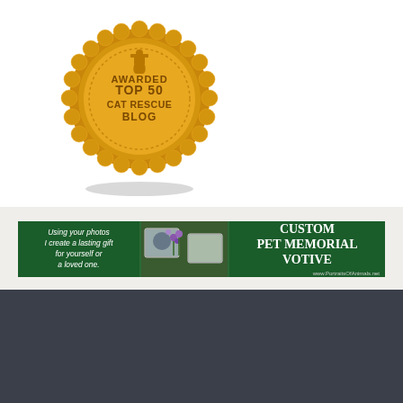[Figure (logo): Gold award badge seal reading 'AWARDED TOP 50 CAT RESCUE BLOG' with trophy icon on top and decorative scalloped edge]
[Figure (photo): Green advertisement banner for Custom Pet Memorial Votive. Text: 'Using your photos I create a lasting gift for yourself or a loved one.' with photos of cats and flowers in center, and 'CUSTOM PET MEMORIAL VOTIVE www.PortraitsOfAnimals.net' on the right.]
[Figure (screenshot): Dark gray footer area with white search bar input and orange search button with magnifying glass icon, and orange up-arrow button at bottom right. Partial orange button visible at very bottom.]